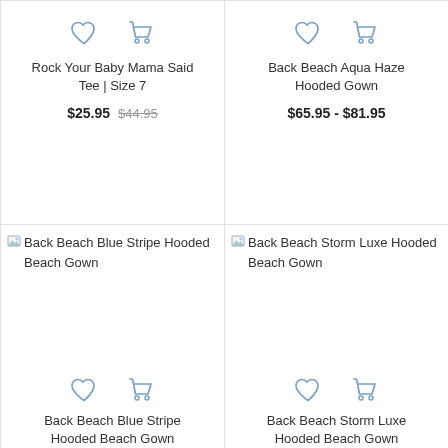[Figure (screenshot): Heart (wishlist) and cart icons for product 1]
Rock Your Baby Mama Said Tee | Size 7
$25.95  $44.95
[Figure (screenshot): Heart (wishlist) and cart icons for product 2]
Back Beach Aqua Haze Hooded Gown
$65.95 - $81.95
[Figure (photo): Back Beach Blue Stripe Hooded Beach Gown product image (broken/loading)]
[Figure (screenshot): Heart (wishlist) and cart icons for product 3]
Back Beach Blue Stripe Hooded Beach Gown
[Figure (photo): Back Beach Storm Luxe Hooded Beach Gown product image (broken/loading)]
[Figure (screenshot): Heart (wishlist) and cart icons for product 4]
Back Beach Storm Luxe Hooded Beach Gown